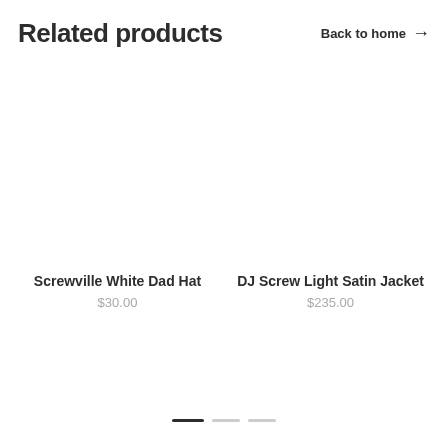Related products
Back to home →
[Figure (photo): Light gray placeholder image for Screwville White Dad Hat product]
Screwville White Dad Hat
$30.00
[Figure (photo): Light gray placeholder image for DJ Screw Light Satin Jacket product]
DJ Screw Light Satin Jacket
$235.00